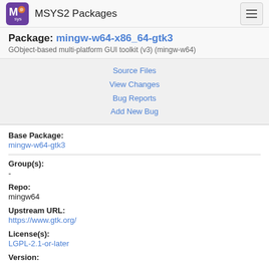MSYS2 Packages
Package: mingw-w64-x86_64-gtk3
GObject-based multi-platform GUI toolkit (v3) (mingw-w64)
Source Files
View Changes
Bug Reports
Add New Bug
Base Package:
mingw-w64-gtk3
Group(s):
-
Repo:
mingw64
Upstream URL:
https://www.gtk.org/
License(s):
LGPL-2.1-or-later
Version: